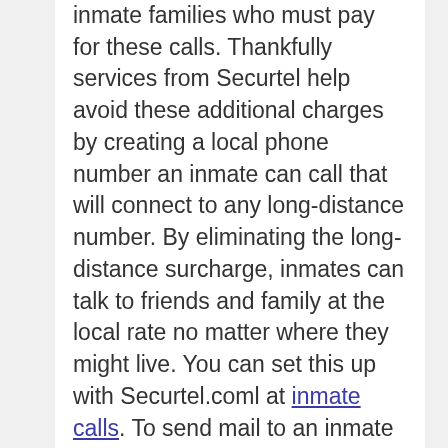inmate families who must pay for these calls. Thankfully services from Securtel help avoid these additional charges by creating a local phone number an inmate can call that will connect to any long-distance number. By eliminating the long-distance surcharge, inmates can talk to friends and family at the local rate no matter where they might live. You can set this up with Securtel.coml at inmate calls. To send mail to an inmate you can visit send postcards. Talk with your inmate to learn about the permitted hours for phone calls, rules for sending mail and days and times for visitation, Facilities in VA all have different rules that you'll be required to follow.
Prison is expensive. Phone calls are the most costly, especially without a local number. But also items an